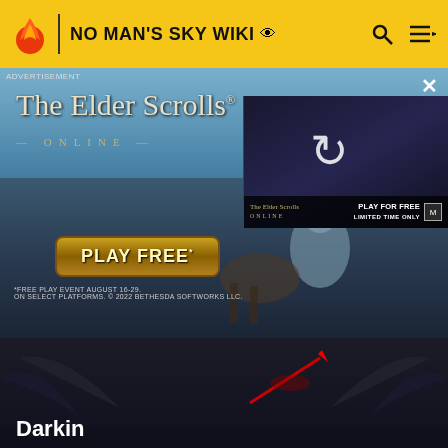NO MAN'S SKY WIKI
[Figure (screenshot): The Elder Scrolls Online advertisement banner with 'PLAY FREE' button and secondary video panel showing 'PLAY FOR FREE LIMITED TIME ONLY']
[Figure (screenshot): Darkin hero image from Villains Wiki showing dark fantasy creature with red spear against dark background, with title 'Darkin' and subtitle 'Villains Wiki']
[Figure (illustration): Pixel art of a dark purple tentacled creature on grey background]